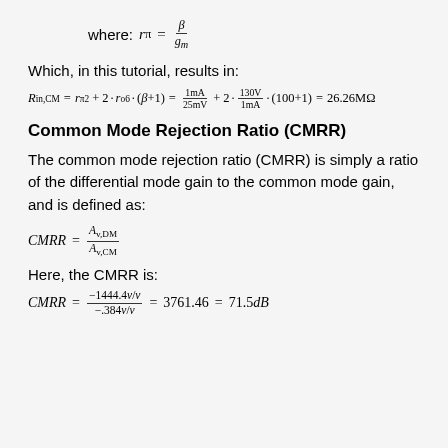Which, in this tutorial, results in:
Common Mode Rejection Ratio (CMRR)
The common mode rejection ratio (CMRR) is simply a ratio of the differential mode gain to the common mode gain, and is defined as:
Here, the CMRR is: